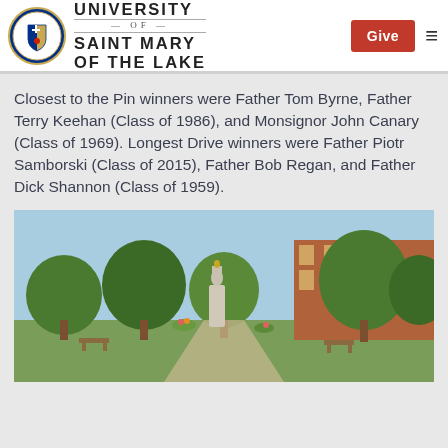University of Saint Mary of the Lake
Closest to the Pin winners were Father Tom Byrne, Father Terry Keehan (Class of 1986), and Monsignor John Canary (Class of 1969). Longest Drive winners were Father Piotr Samborski (Class of 2015), Father Bob Regan, and Father Dick Shannon (Class of 1959).
[Figure (photo): Outdoor photo of a university garden area with a statue, brick building in background, trees and green landscaping, benches visible.]